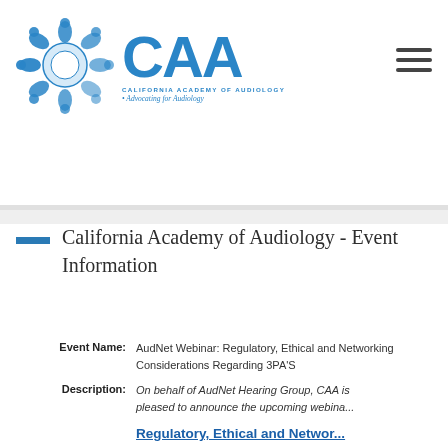[Figure (logo): California Academy of Audiology (CAA) logo with circular blue figure motif and text 'CALIFORNIA ACADEMY OF AUDIOLOGY • Advocating for Audiology']
California Academy of Audiology - Event Information
Event Name: AudNet Webinar: Regulatory, Ethical and Networking Considerations Regarding 3PA'S
Description: On behalf of AudNet Hearing Group, CAA is pleased to announce the upcoming webinar
Regulatory, Ethical and Netwo...